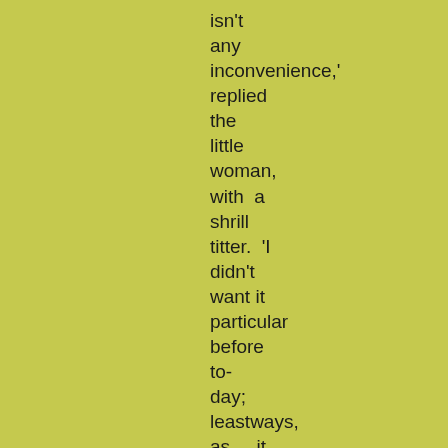isn't any inconvenience,' replied the little woman, with a shrill titter. 'I didn't want it particular before to-day; leastways, as it has to